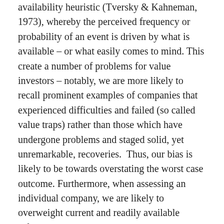availability heuristic (Tversky & Kahneman, 1973), whereby the perceived frequency or probability of an event is driven by what is available – or what easily comes to mind. This create a number of problems for value investors – notably, we are more likely to recall prominent examples of companies that experienced difficulties and failed (so called value traps) rather than those which have undergone problems and staged solid, yet unremarkable, recoveries.  Thus, our bias is likely to be towards overstating the worst case outcome. Furthermore, when assessing an individual company, we are likely to overweight current and readily available information, which is typically negative in regard to value stocks.
– Salience: Griffin & Tversky (1992) argue that we struggle to differentiate between the strength of